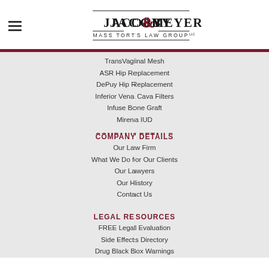[Figure (logo): Jacoby & Meyers Mass Torts Law Group logo with hamburger menu icon]
TransVaginal Mesh
ASR Hip Replacement
DePuy Hip Replacement
Inferior Vena Cava Filters
Infuse Bone Graft
Mirena IUD
COMPANY DETAILS
Our Law Firm
What We Do for Our Clients
Our Lawyers
Our History
Contact Us
LEGAL RESOURCES
FREE Legal Evaluation
Side Effects Directory
Drug Black Box Warnings